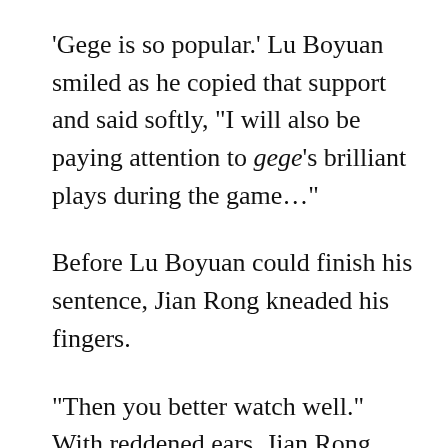'Gege is so popular.' Lu Boyuan smiled as he copied that support and said softly, “I will also be paying attention to gege’s brilliant plays during the game…”
Before Lu Boyuan could finish his sentence, Jian Rong kneaded his fingers.
“Then you better watch well.” With reddened ears, Jian Rong said somewhat tonelessly, “Watch gege carry you to victory.”
Perhaps because KWY’s support had been constantly speaking up on social media, the barrage in today’s match livestream was the most harmonious it had been recently—